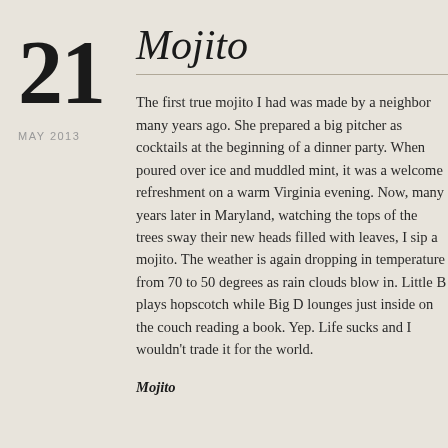21
MAY 2013
Mojito
The first true mojito I had was made by a neighbor many years ago. She prepared a big pitcher as cocktails at the beginning of a dinner party. When poured over ice and muddled mint, it was a welcome refreshment on a warm Virginia evening. Now, many years later in Maryland, watching the tops of the trees sway their new heads filled with leaves, I sip a mojito. The weather is again dropping in temperature from 70 to 50 degrees as rain clouds blow in. Little B plays hopscotch while Big D lounges just inside on the couch reading a book. Yep. Life sucks and I wouldn't trade it for the world.
Mojito